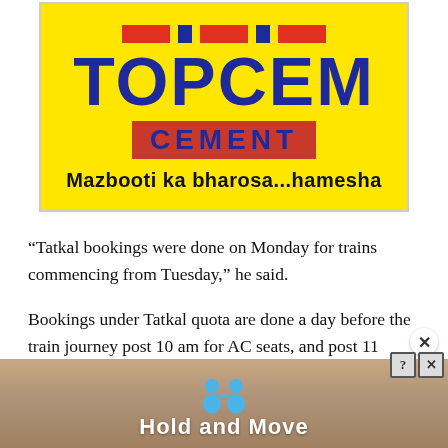[Figure (logo): Topcem Cement advertisement logo. Yellow background with large blue bold text 'TOPCEM', a red banner below with blue bold text 'CEMENT', and black bold tagline 'Mazbooti ka bharosa...hamesha'.]
“Tatkal bookings were done on Monday for trains commencing from Tuesday,” he said.
Bookings under Tatkal quota are done a day before the train journey post 10 am for AC seats, and post 11
[Figure (other): Bottom advertisement banner with peach/brown background showing two cartoon figures and text 'Hold and Move'. Has a help/close button in the top-right corner.]